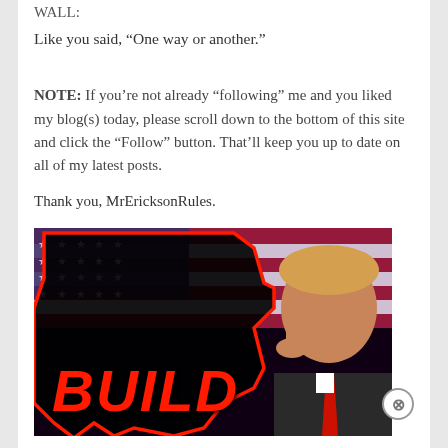WALL:
Like you said, “One way or another.”
NOTE:  If you’re not already “following” me and you liked my blog(s) today, please scroll down to the bottom of this site and click the “Follow” button. That’ll keep you up to date on all of my latest posts.
Thank you, MrEricksonRules.
[Figure (photo): Political campaign image with American flag background, Texas state silhouette in black with red outline, and text 'BUILD' in large red letters. A person giving thumbs up is visible on the right side.]
Advertisements